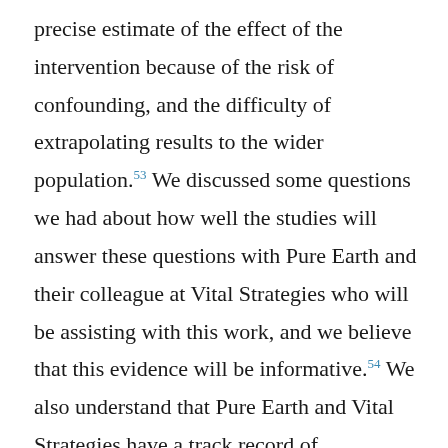precise estimate of the effect of the intervention because of the risk of confounding, and the difficulty of extrapolating results to the wider population.53 We discussed some questions we had about how well the studies will answer these questions with Pure Earth and their colleague at Vital Strategies who will be assisting with this work, and we believe that this evidence will be informative.54 We also understand that Pure Earth and Vital Strategies have a track record of completing similar research in the past, although we have not reviewed that work in depth.55